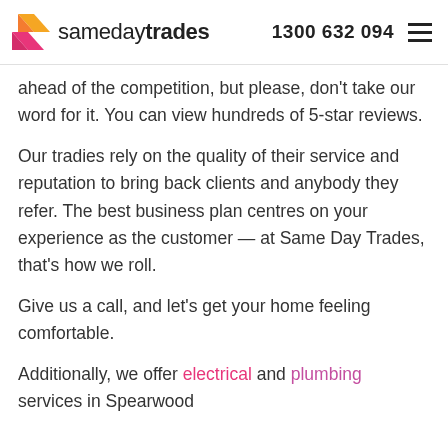samedaytrades  1300 632 094
ahead of the competition, but please, don't take our word for it. You can view hundreds of 5-star reviews.
Our tradies rely on the quality of their service and reputation to bring back clients and anybody they refer. The best business plan centres on your experience as the customer — at Same Day Trades, that's how we roll.
Give us a call, and let's get your home feeling comfortable.
Additionally, we offer electrical and plumbing services in Spearwood